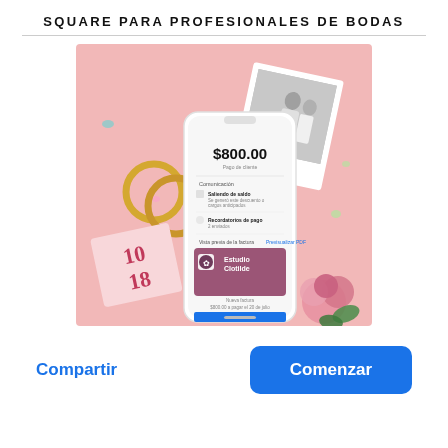SQUARE PARA PROFESIONALES DE BODAS
[Figure (photo): Promotional photo for Square wedding professionals app. Pink background with gold rings, confetti, a polaroid photo of a couple, pink roses, and a smartphone showing a Square invoice for $800.00 for 'Estudio Clotilde' with payment details and reminder options. A pink save-the-date card shows '10 18'.]
Compartir
Comenzar